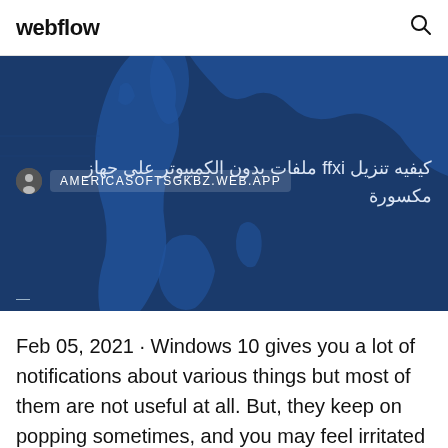webflow
[Figure (map): Blue world map background with darker land masses visible]
AMERICASOFTSGKBZ.WEB.APP
كيفيه تنزيل ffxi ملفات بدون الكمبيوتر على جهاز مكسورة
Feb 05, 2021 · Windows 10 gives you a lot of notifications about various things but most of them are not useful at all. But, they keep on popping sometimes, and you may feel irritated while doing